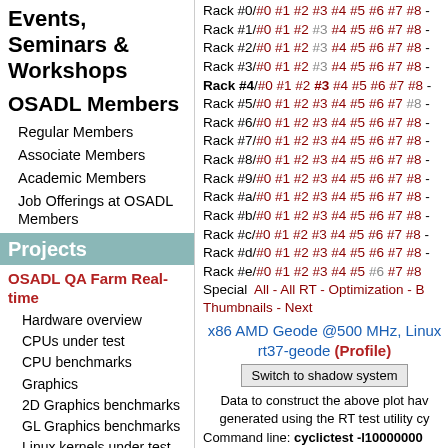Events, Seminars & Workshops
OSADL Members
Regular Members
Associate Members
Academic Members
Job Offerings at OSADL Members
Projects
OSADL QA Farm Real-time
Hardware overview
CPUs under test
CPU benchmarks
Graphics
2D Graphics benchmarks
GL Graphics benchmarks
Linux kernels under test
Boards and distros
Continuous latency monitoring
Rack #0/#0 #1 #2 #3 #4 #5 #6 #7 #8 -
Rack #1/#0 #1 #2 #3 #4 #5 #6 #7 #8 -
Rack #2/#0 #1 #2 #3 #4 #5 #6 #7 #8 -
Rack #3/#0 #1 #2 #3 #4 #5 #6 #7 #8 -
Rack #4/#0 #1 #2 #3 #4 #5 #6 #7 #8 -
Rack #5/#0 #1 #2 #3 #4 #5 #6 #7 #8 -
Rack #6/#0 #1 #2 #3 #4 #5 #6 #7 #8 -
Rack #7/#0 #1 #2 #3 #4 #5 #6 #7 #8 -
Rack #8/#0 #1 #2 #3 #4 #5 #6 #7 #8 -
Rack #9/#0 #1 #2 #3 #4 #5 #6 #7 #8 -
Rack #a/#0 #1 #2 #3 #4 #5 #6 #7 #8 -
Rack #b/#0 #1 #2 #3 #4 #5 #6 #7 #8 -
Rack #c/#0 #1 #2 #3 #4 #5 #6 #7 #8 -
Rack #d/#0 #1 #2 #3 #4 #5 #6 #7 #8 -
Rack #e/#0 #1 #2 #3 #4 #5 #6 #7 #8
Special  All - All RT - Optimization - B...
Thumbnails - Next
x86 AMD Geode @500 MHz, Linux rt37-geode (Profile)
Switch to shadow system
Data to construct the above plot have been generated using the RT test utility cy...
Command line: cyclictest -l100000000...